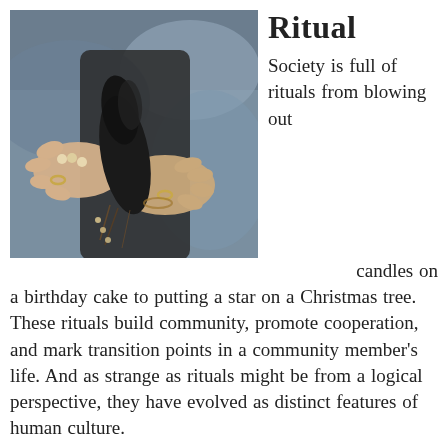Ritual
[Figure (photo): Close-up photograph of a person's hands holding a charred or burnt bundle (possibly a smudge stick or herb bundle), with beads visible. The person wears rings and a bracelet. Background is blurred blue-grey tones.]
Society is full of rituals from blowing out candles on a birthday cake to putting a star on a Christmas tree.  These rituals build community, promote cooperation, and mark transition points in a community member's life. And as strange as rituals might be from a logical perspective, they have evolved as distinct features of human culture.